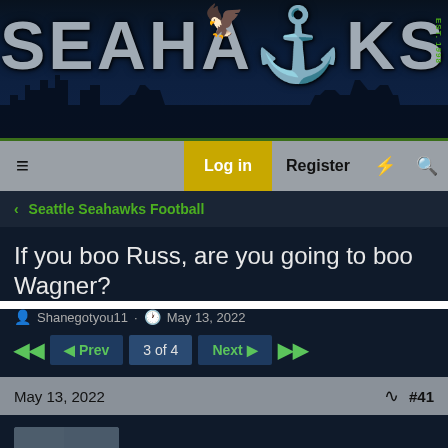[Figure (logo): SEAHAWKS.NET website banner with stylized text and team logo on dark navy background with city skyline silhouette]
Log in  Register
< Seattle Seahawks Football
If you boo Russ, are you going to boo Wagner?
Shanegotyou11 · May 13, 2022
Prev  3 of 4  Next
May 13, 2022  #41
oldhawkfan
Well-known member
I have a question for those that feel like they want to boo